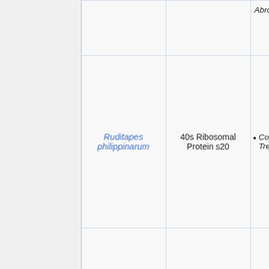| (margin) | Species | Protein | References |
| --- | --- | --- | --- |
|  |  |  | Abro... |
|  | Ruditapes philippinarum | 40s Ribosomal Protein s20 | Copp... Trea... |
|  | Scophthalmus maximus | RNA polymerase II subunit D | Viral... |